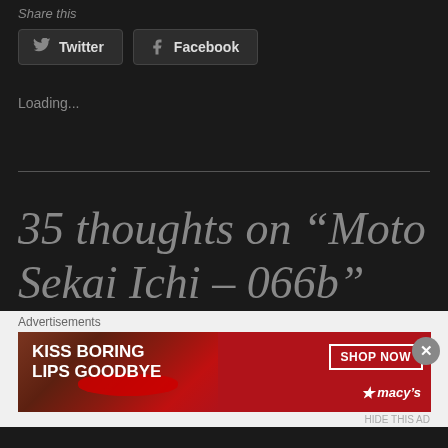Share this
Twitter  Facebook
Loading...
35 thoughts on “Moto Sekai Ichi – 066b”
Advertisements
[Figure (illustration): Macy's advertisement banner: KISS BORING LIPS GOODBYE with SHOP NOW button and macy's logo, featuring a woman with red lips]